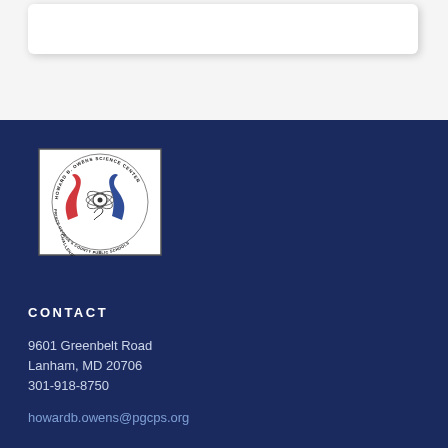[Figure (logo): Howard B. Owens Science Center logo — circular seal with red and blue stylized figures, atom graphic, text reading HOWARD B. OWENS SCIENCE CENTER, PRINCE GEORGE'S COUNTY PUBLIC SCHOOLS, CHALLENGER LEARNING CENTER]
CONTACT
9601 Greenbelt Road
Lanham, MD 20706
301-918-8750
howardb.owens@pgcps.org